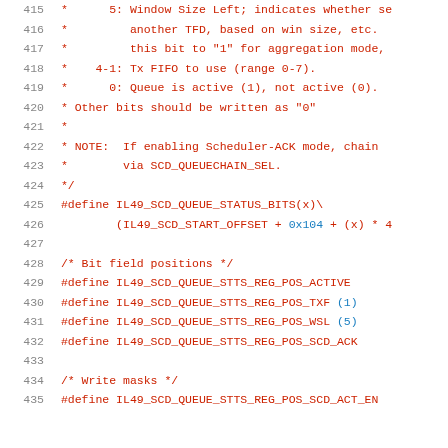Source code listing lines 415-435 showing C preprocessor definitions and comments for IL49 SCD queue status bits
415: * 5: Window Size Left; indicates whether se
416: * another TFD, based on win size, etc.
417: * this bit to "1" for aggregation mode,
418: * 4-1: Tx FIFO to use (range 0-7).
419: * 0: Queue is active (1), not active (0).
420: * Other bits should be written as "0"
421: *
422: * NOTE: If enabling Scheduler-ACK mode, chain
423: * via SCD_QUEUECHAIN_SEL.
424: */
425: #define IL49_SCD_QUEUE_STATUS_BITS(x)\
426: (IL49_SCD_START_OFFSET + 0x104 + (x) * 4
427: (blank)
428: /* Bit field positions */
429: #define IL49_SCD_QUEUE_STTS_REG_POS_ACTIVE
430: #define IL49_SCD_QUEUE_STTS_REG_POS_TXF (1)
431: #define IL49_SCD_QUEUE_STTS_REG_POS_WSL (5)
432: #define IL49_SCD_QUEUE_STTS_REG_POS_SCD_ACK
433: (blank)
434: /* Write masks */
435: #define IL49_SCD_QUEUE_STTS_REG_POS_SCD_ACT_EN